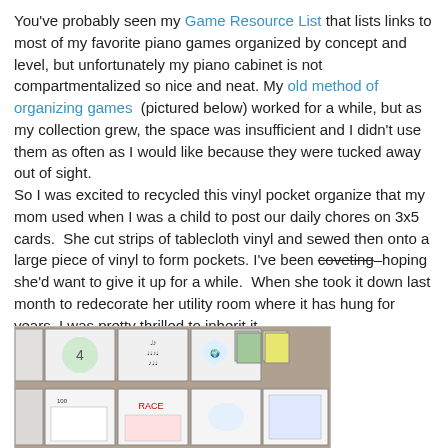You've probably seen my Game Resource List that lists links to most of my favorite piano games organized by concept and level, but unfortunately my piano cabinet is not compartmentalized so nice and neat. My old method of organizing games  (pictured below) worked for a while, but as my collection grew, the space was insufficient and I didn't use them as often as I would like because they were tucked away out of sight.
So I was excited to recycled this vinyl pocket organize that my mom used when I was a child to post our daily chores on 3x5 cards.  She cut strips of tablecloth vinyl and sewed then onto a large piece of vinyl to form pockets. I've been coveting hoping she'd want to give it up for a while.  When she took it down last month to redecorate her utility room where it has hung for years, I was pretty thrilled to inherit it.
[Figure (photo): Photo of piano games/cards organized in vinyl pockets, showing small card-sized game boxes arranged in a grid on a brown carpet background]